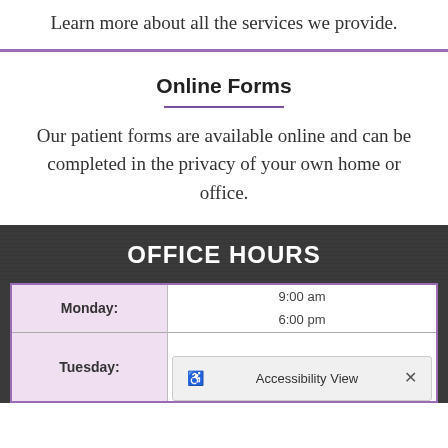Learn more about all the services we provide.
Online Forms
Our patient forms are available online and can be completed in the privacy of your own home or office.
OFFICE HOURS
| Day | Hours |
| --- | --- |
| Monday: | 9:00 am
6:00 pm |
| Tuesday: | 9:00 am |
Accessibility View ×